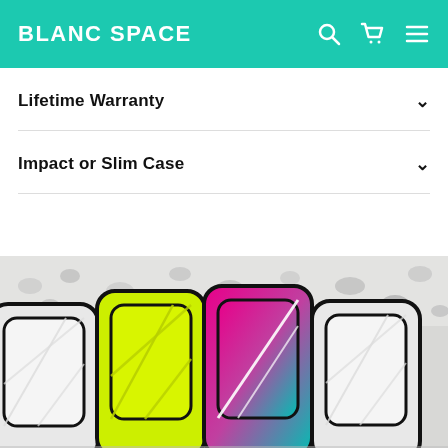BLANC SPACE
Lifetime Warranty
Impact or Slim Case
[Figure (photo): Four colorful phone cases (clear/white, neon yellow, pink-to-teal gradient, and clear with black trim) laid flat on a white rocky/pebbly surface background.]